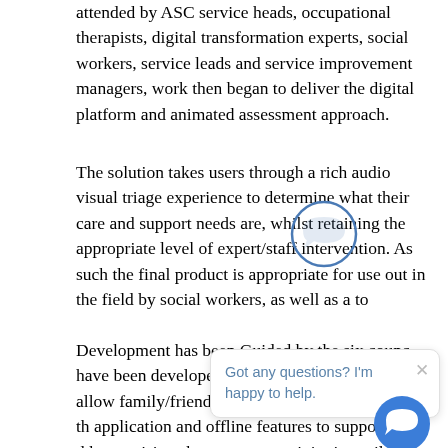attended by ASC service heads, occupational therapists, digital transformation experts, social workers, service leads and service improvement managers, work then began to deliver the digital platform and animated assessment approach.
The solution takes users through a rich audio visual triage experience to determine what their care and support needs are, whilst retaining the appropriate level of expert/staff intervention. As such the final product is appropriate for use out in the field by social workers, as well as a to
Development has been Guided by the six counc have been developed, including advocacy use to allow family/friends/staff to support people with th application and offline features to support staff d home visits where no connectivity is available.